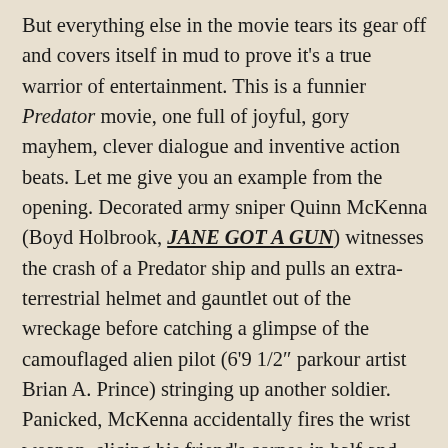But everything else in the movie tears its gear off and covers itself in mud to prove it's a true warrior of entertainment. This is a funnier Predator movie, one full of joyful, gory mayhem, clever dialogue and inventive action beats. Let me give you an example from the opening. Decorated army sniper Quinn McKenna (Boyd Holbrook, JANE GOT A GUN) witnesses the crash of a Predator ship and pulls an extra-terrestrial helmet and gauntlet out of the wreckage before catching a glimpse of the camouflaged alien pilot (6'9 1/2″ parkour artist Brian A. Prince) stringing up another soldier. Panicked, McKenna accidentally fires the wrist weapon, slicing his friend's corpse in half and dumping intestines and blood onto the cloaked Predator, revealing its location